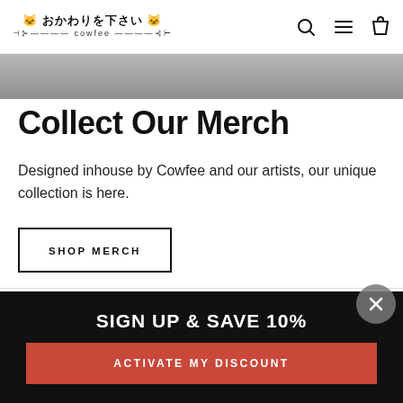おかわりを下さい cowfee
[Figure (photo): Gray decorative image strip]
Collect Our Merch
Designed inhouse by Cowfee and our artists, our unique collection is here.
SHOP MERCH
QUICKLINKS
SIGN UP AND SAVE
SIGN UP & SAVE 10%
ACTIVATE MY DISCOUNT